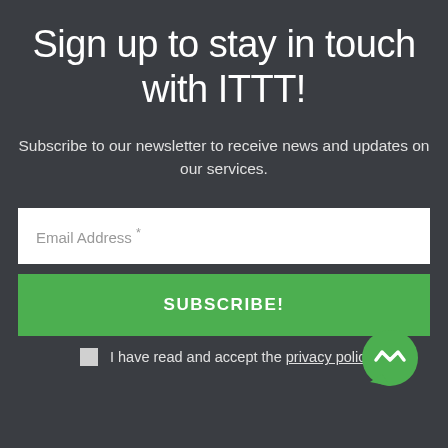Sign up to stay in touch with ITTT!
Subscribe to our newsletter to receive news and updates on our services.
Email Address *
SUBSCRIBE!
[Figure (illustration): Green circular messenger/chat icon with white lightning bolt symbol]
I have read and accept the privacy policy *